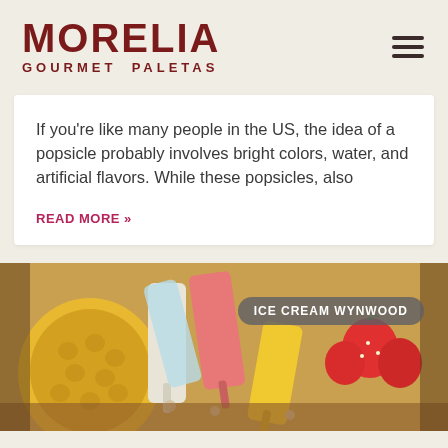MORELIA GOURMET PALETAS
If you're like many people in the US, the idea of a popsicle probably involves bright colors, water, and artificial flavors. While these popsicles, also
READ MORE »
[Figure (photo): Close-up photo of colorful gourmet paletas (popsicles) with a pineapple and strawberries in the background, with a tag overlay reading ICE CREAM WYNWOOD]